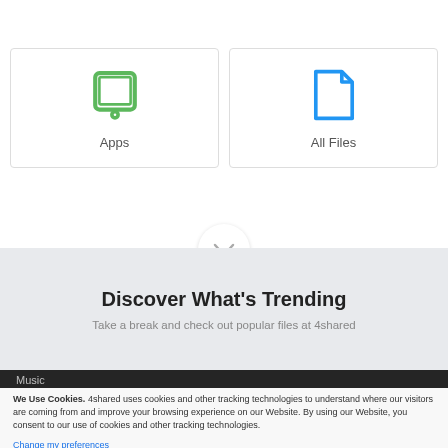[Figure (illustration): Two clickable cards side by side: left card shows a green tablet/app icon with label 'Apps', right card shows a blue file/document icon with label 'All Files']
[Figure (illustration): Chevron/chevron down arrow in a circle indicating scroll down]
Discover What's Trending
Take a break and check out popular files at 4shared
Music
We Use Cookies. 4shared uses cookies and other tracking technologies to understand where our visitors are coming from and improve your browsing experience on our Website. By using our Website, you consent to our use of cookies and other tracking technologies.
Change my preferences